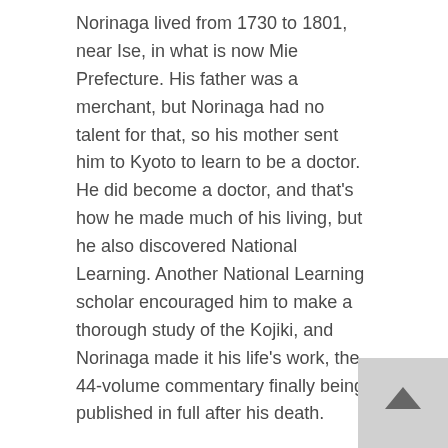Norinaga lived from 1730 to 1801, near Ise, in what is now Mie Prefecture. His father was a merchant, but Norinaga had no talent for that, so his mother sent him to Kyoto to learn to be a doctor. He did become a doctor, and that's how he made much of his living, but he also discovered National Learning. Another National Learning scholar encouraged him to make a thorough study of the Kojiki, and Norinaga made it his life's work, the 44-volume commentary finally being published in full after his death.
The Kojiki is the oldest surviving substantial work of Japanese literature. It is a history of Japan, from the beginning to the early seventh century, and it was completed in 712. It is actually written in Japanese, using unique conventions to write it in kanji; in contrast, the Nihonshoki, a similar history of Japan completed in 720, is basically written in Chinese. (The Japanese wrote in a form called “kanbun”, which, I believe, is almost Chinese but not quite; I don’t know the details, however.) The Kojiki’s age, concern with Japanese beliefs about the world and their place in it, and language all made it very interesting to National Learning scholars, and Norinaga made it interesting to everyone else.
Most of the lecture was taken up with discussing Norinaga’s